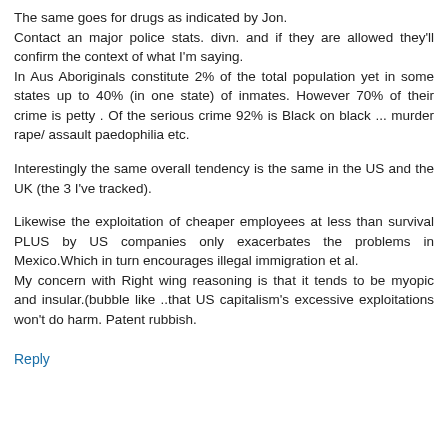The same goes for drugs as indicated by Jon. Contact an major police stats. divn. and if they are allowed they'll confirm the context of what I'm saying. In Aus Aboriginals constitute 2% of the total population yet in some states up to 40% (in one state) of inmates. However 70% of their crime is petty . Of the serious crime 92% is Black on black ... murder rape/ assault paedophilia etc.
Interestingly the same overall tendency is the same in the US and the UK (the 3 I've tracked).
Likewise the exploitation of cheaper employees at less than survival PLUS by US companies only exacerbates the problems in Mexico.Which in turn encourages illegal immigration et al. My concern with Right wing reasoning is that it tends to be myopic and insular.(bubble like ..that US capitalism's excessive exploitations won't do harm. Patent rubbish.
Reply